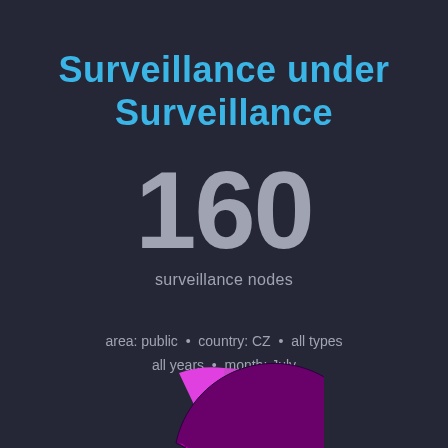Surveillance under Surveillance
160
surveillance nodes
area: public • country: CZ • all types
all years • month: July
filter
[Figure (pie-chart): Partial pie/donut chart visible at the bottom of the page, showing segments in magenta/pink and purple colors, partially cropped]